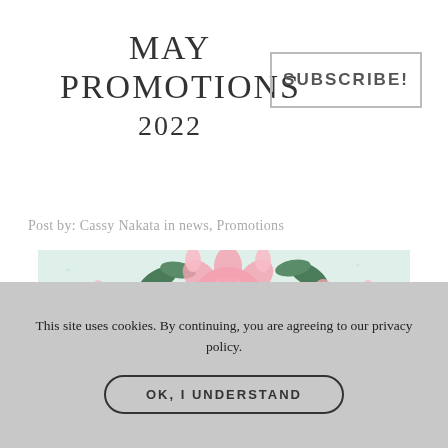MAY PROMOTIONS 2022
SUBSCRIBE!
Post by: Cassy Nakata in news, Promotions
[Figure (illustration): Decorative floral image with pink peonies on a mint green background with a circular frame element]
This site uses cookies. By continuing, you are agreeing to our privacy policy.
OK, I UNDERSTAND